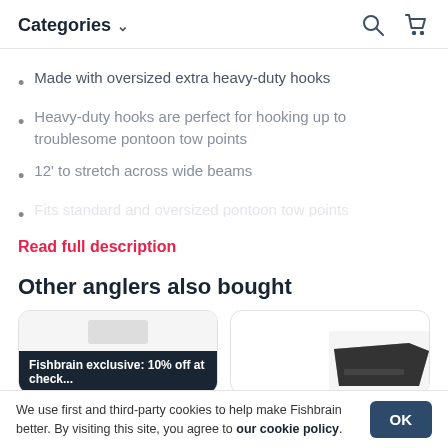Categories
Made with oversized extra heavy-duty hooks
Heavy-duty hooks are perfect for hooking up to troublesome pontoon tow points
12' to stretch across wide beams
(faded/truncated text)
Read full description
Other anglers also bought
[Figure (screenshot): Product card with 'Fishbrain exclusive: 10% off at check...' banner]
[Figure (photo): Product image showing dark flat item]
We use first and third-party cookies to help make Fishbrain better. By visiting this site, you agree to our cookie policy.